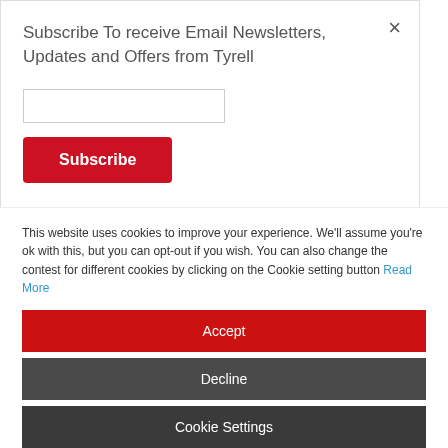making media simple
Avid Announces A Avid S1 Control
tyrell cloud
tyrell
customers
Subscribe To receive Email Newsletters, Updates and Offers from Tyrell
[Figure (screenshot): Red Subscribe button]
This website uses cookies to improve your experience. We'll assume you're ok with this, but you can opt-out if you wish. You can also change the contest for different cookies by clicking on the Cookie setting button Read More
[Figure (screenshot): Accept button (red)]
[Figure (screenshot): Decline button (dark gray)]
[Figure (screenshot): Cookie Settings button (dark gray)]